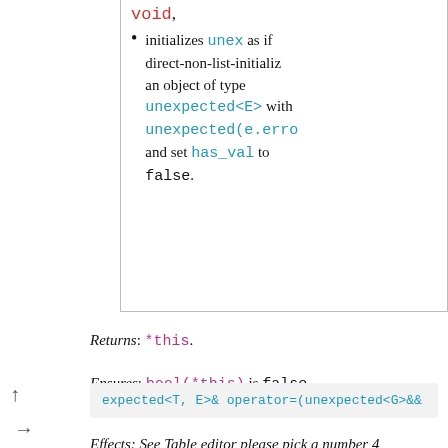void,
initializes unex as if direct-non-list-initializing an object of type unexpected<E> with unexpected(e.error) and set has_val to false.
Returns: *this.
Ensures: bool(*this) is false.
Remarks: If any exception is thrown, bool(*this) remains unchanged.
expected<T, E>& operator=(unexpected<G>&&
Effects: See Table editor please pick a number 4